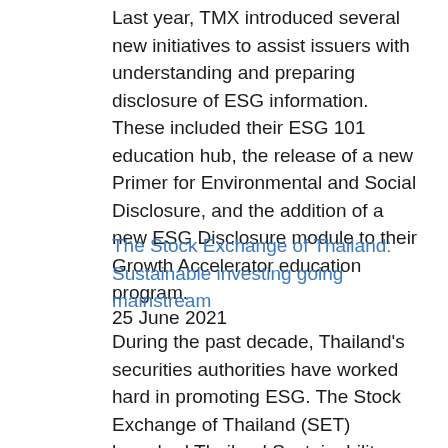Last year, TMX introduced several new initiatives to assist issuers with understanding and preparing disclosure of ESG information. These included their ESG 101 education hub, the release of a new Primer for Environmental and Social Disclosure, and the addition of a new ESG Disclosure module to their Growth Accelerator education program.
The Stock Exchange of Thailand: Sustainable investing going mainstream
25 June 2021
During the past decade, Thailand's securities authorities have worked hard in promoting ESG. The Stock Exchange of Thailand (SET) launched Thailand Sustainability Investment (THSI) in 2015 as the list of listed companies passing ESG criteria. Among the criteria are